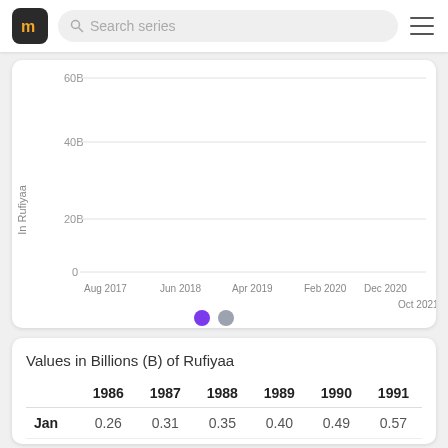[Figure (line-chart): Line chart with y-axis labels 0, 20B, 40B, 60B and x-axis from Aug 2017 to Oct 2021. Two series shown (purple and gray legend dots).]
Values in Billions (B) of Rufiyaa
|  | 1986 | 1987 | 1988 | 1989 | 1990 | 1991 |
| --- | --- | --- | --- | --- | --- | --- |
| Jan | 0.26 | 0.31 | 0.35 | 0.40 | 0.49 | 0.57 |
| Feb | 0.27 | 0.32 | 0.37 | 0.39 | 0.51 | 0.62 |